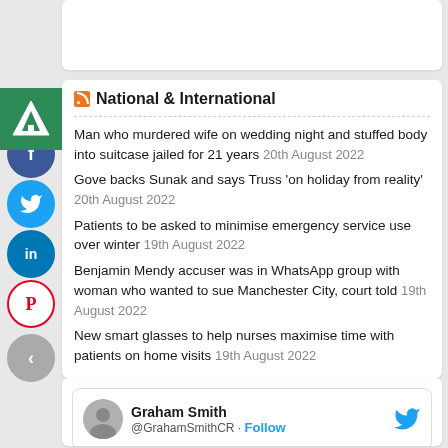National & International
Man who murdered wife on wedding night and stuffed body into suitcase jailed for 21 years 20th August 2022
Gove backs Sunak and says Truss 'on holiday from reality' 20th August 2022
Patients to be asked to minimise emergency service use over winter 19th August 2022
Benjamin Mendy accuser was in WhatsApp group with woman who wanted to sue Manchester City, court told 19th August 2022
New smart glasses to help nurses maximise time with patients on home visits 19th August 2022
Graham Smith @GrahamSmithCR · Follow